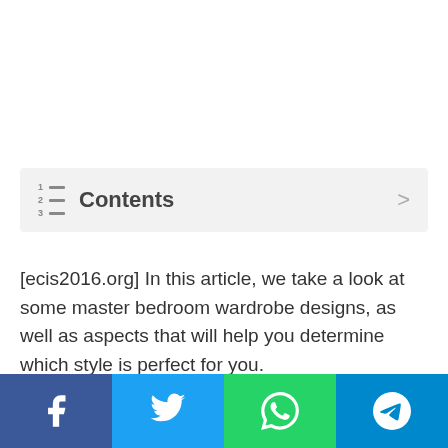☰ Contents ›
[ecis2016.org] In this article, we take a look at some master bedroom wardrobe designs, as well as aspects that will help you determine which style is perfect for you.
[Figure (other): Social share bar with Facebook, Twitter, WhatsApp, and Telegram buttons]